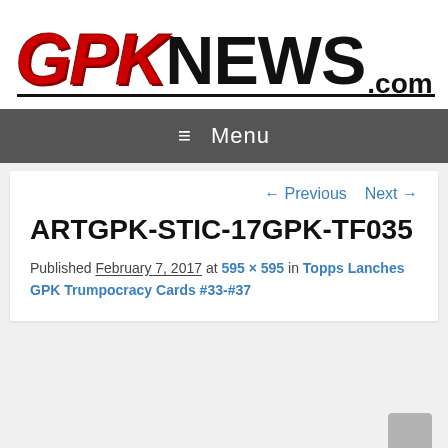[Figure (logo): GPKNews.com logo with red stylized GPK text and black NEWS.com text]
≡ Menu
← Previous   Next →
ARTGPK-STIC-17GPK-TF035
Published February 7, 2017 at 595 × 595 in Topps Lanches GPK Trumpocracy Cards #33-#37